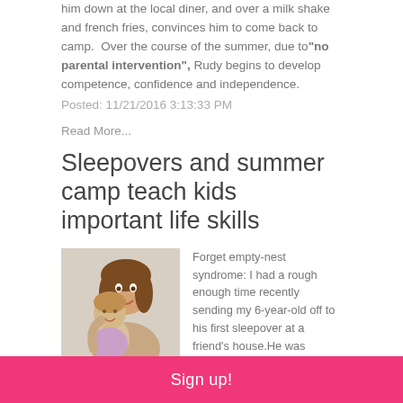him down at the local diner, and over a milk shake and french fries, convinces him to come back to camp.  Over the course of the summer, due to "no parental intervention", Rudy begins to develop  competence, confidence and independence.
Posted: 11/21/2016 3:13:33 PM
Read More...
Sleepovers and summer camp teach kids important life skills
[Figure (photo): A woman and young girl hugging and smiling, stock photo]
Forget empty-nest syndrome: I had a rough enough time recently sending my 6-year-old off to his first sleepover at a friend's house.He was clearly more ready for this milestone than his father and I were: He'd been begging to go for weeks, and that afternoon, he sat on our steps eagerly waiting to be picked up — sleeping bag, glow-in-the-dark PJs and s'mores fixings in hand — as I worked at
Sign up!